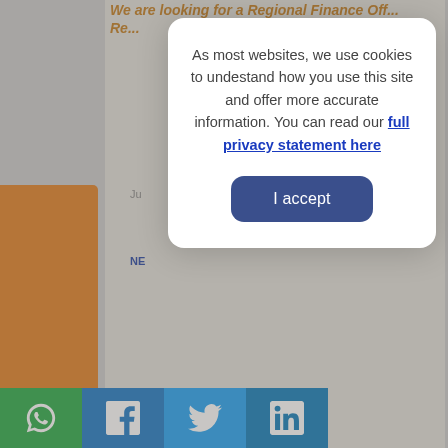[Figure (screenshot): A website page partially visible in the background showing a job posting title in orange ('We are looking for a Regional Finance Off... Re...'), dates, news labels, social media share bar at the bottom (WhatsApp, Facebook, Twitter, LinkedIn), and an orange 'Donate for Ukrainian refugees' sidebar on the left. A cookie consent modal dialog is overlaid in the center-right area of the page.]
As most websites, we use cookies to undestand how you use this site and offer more accurate information. You can read our full privacy statement here
I accept